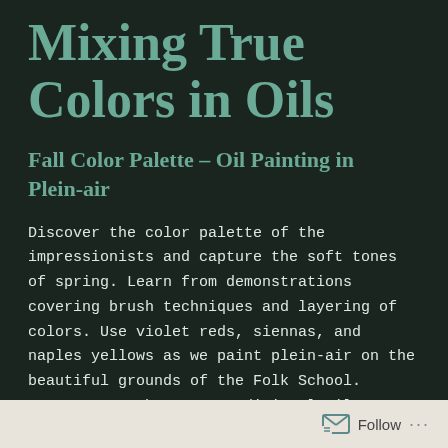Mixing True Colors in Oils
Fall Color Palette – Oil Painting in Plein-air
Discover the color palette of the impressionists and capture the soft tones of spring. Learn from demonstrations covering brush techniques and layering of colors. Use violet reds, siennas, and naples yellows as we paint plein-air on the beautiful grounds of the Folk School. Incorporate the same traditional oils, grounds, and mediums employed by the French masters. Paint on specially prepared panels for vibrant colors and expression. Beginners welcome.
John C. Campbell Folk School, May 15 -19, 2022. Space still available
Follow